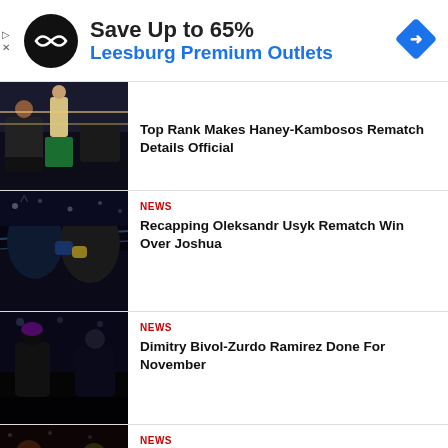[Figure (infographic): Advertisement banner: Save Up to 65% at Leesburg Premium Outlets with circular black logo and blue navigation diamond icon]
[Figure (photo): Boxing match photo - referee and fighters in the ring, Haney-Kambosos rematch]
Top Rank Makes Haney-Kambosos Rematch Details Official
[Figure (photo): Boxing match photo - Oleksandr Usyk fighting Anthony Joshua]
NEWS
Recapping Oleksandr Usyk Rematch Win Over Joshua
[Figure (photo): Boxing match photo - Dimitry Bivol and Zurdo Ramirez]
NEWS
Dimitry Bivol-Zurdo Ramirez Done For November
[Figure (photo): Boxing match photo - Emanuel Navarrete vs Baez]
NEWS
Emanuel Navarrete Rallies Against Baez With Body-Shot KO